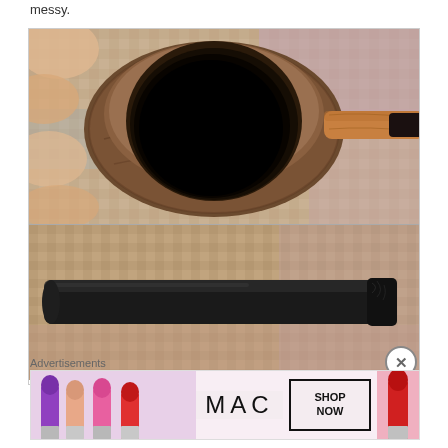messy.
[Figure (photo): Two-panel photo of a tobacco pipe. Top panel shows the bowl of the pipe from above, held in fingers, on a woven carpet background showing the dark interior of the bowl and the brown briar wood grain and stem. Bottom panel shows the black vulcanite mouthpiece/stem of the pipe laid on the same carpet.]
Advertisements
[Figure (photo): MAC Cosmetics advertisement banner showing four lipsticks (purple, peach, pink, red) on the left, the MAC logo in the center, a SHOP NOW button box, and a red lipstick on the right, on a pink/mauve background.]